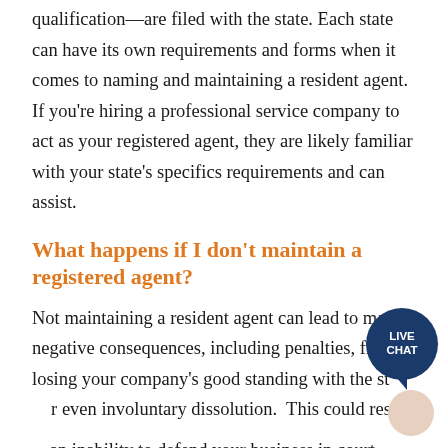qualification—are filed with the state. Each state can have its own requirements and forms when it comes to naming and maintaining a resident agent. If you're hiring a professional service company to act as your registered agent, they are likely familiar with your state's specifics requirements and can assist.
What happens if I don't maintain a registered agent?
Not maintaining a resident agent can lead to many negative consequences, including penalties, fines, losing your company's good standing with the state, or even involuntary dissolution. This could result in
an inability to defend your business in court.
no longer being able to legally conduct business